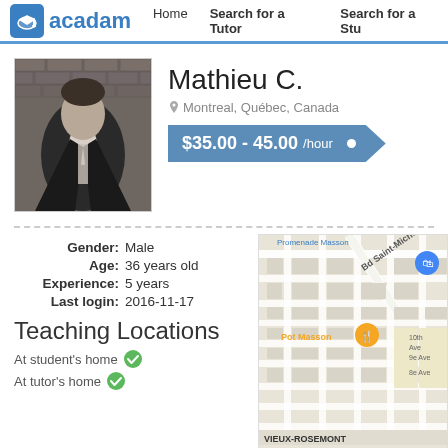acadam | Home  Search for a Tutor  Search for a Stu
[Figure (photo): Black and white photo of Mathieu C., a man in a suit jacket against a brick wall background]
Mathieu C.
Montreal, Québec, Canada
$35.00 - 45.00 /hour
| Gender: | Male |
| Age: | 36 years old |
| Experience: | 5 years |
| Last login: | 2016-11-17 |
Teaching Locations
At student's home ✓
At tutor's home ✓
[Figure (map): Street map showing Montreal area including Bd Saint-Michel, Pot Masson, VIEUX-ROSEMONT labels]